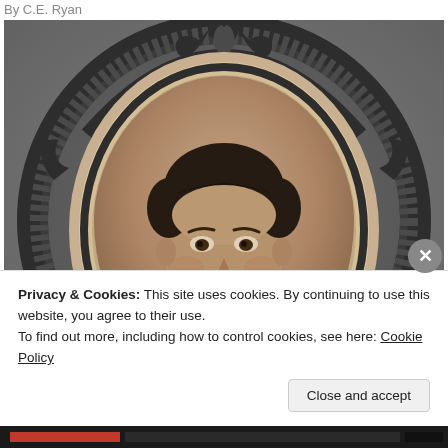By C.E. Ryan
[Figure (photo): Sepia-toned vintage oval portrait photograph of a young man in a decorative dark frame with ornate carved top featuring a flame or torch motif and ridged border, mounted on a gray textured background.]
Privacy & Cookies: This site uses cookies. By continuing to use this website, you agree to their use.
To find out more, including how to control cookies, see here: Cookie Policy
Close and accept